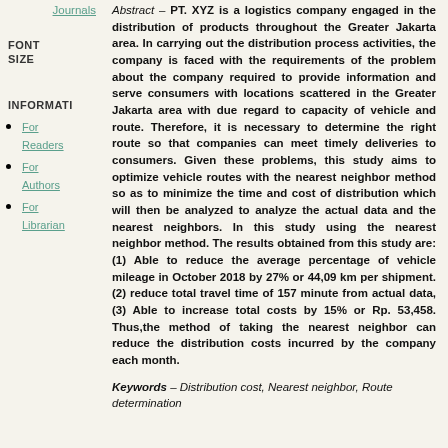Journals
FONT SIZE
INFORMATION
For Readers
For Authors
For Librarians
Abstract – PT. XYZ is a logistics company engaged in the distribution of products throughout the Greater Jakarta area. In carrying out the distribution process activities, the company is faced with the requirements of the problem about the company required to provide information and serve consumers with locations scattered in the Greater Jakarta area with due regard to capacity of vehicle and route. Therefore, it is necessary to determine the right route so that companies can meet timely deliveries to consumers. Given these problems, this study aims to optimize vehicle routes with the nearest neighbor method so as to minimize the time and cost of distribution which will then be analyzed to analyze the actual data and the nearest neighbors. In this study using the nearest neighbor method. The results obtained from this study are: (1) Able to reduce the average percentage of vehicle mileage in October 2018 by 27% or 44,09 km per shipment. (2) reduce total travel time of 157 minute from actual data, (3) Able to increase total costs by 15% or Rp. 53,458. Thus,the method of taking the nearest neighbor can reduce the distribution costs incurred by the company each month.
Keywords – Distribution cost, Nearest neighbor, Route determination